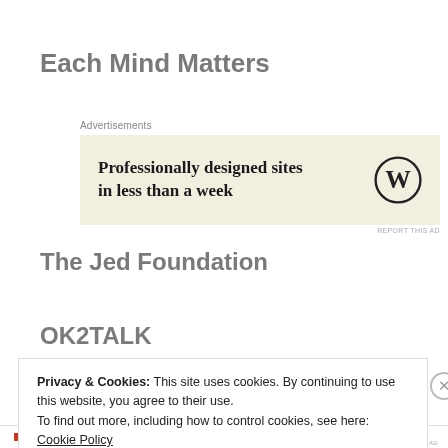Each Mind Matters
[Figure (other): WordPress advertisement banner with text 'Professionally designed sites in less than a week' and WordPress logo on beige background]
The Jed Foundation
OK2TALK
Privacy & Cookies: This site uses cookies. By continuing to use this website, you agree to their use.
To find out more, including how to control cookies, see here: Cookie Policy
Close and accept